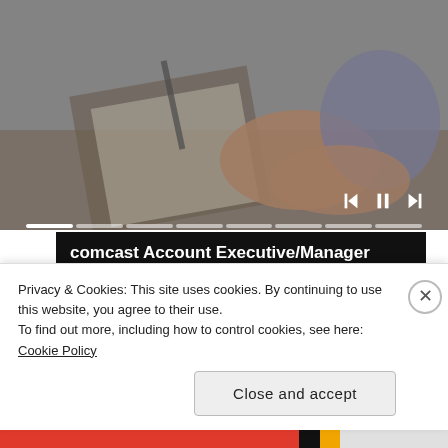[Figure (photo): Blurred background photo of two people at a desk with papers, hands visible, office setting.]
comcast Account Executive/Manager Jobs in Ashburn Apply Now
Sponsored by jobble.com
[Figure (photo): Person in grey top with hands crossed over chest area.]
Metastatic Breast Cancer Symptoms Everyone Needs to Know
Privacy & Cookies: This site uses cookies. By continuing to use this website, you agree to their use.
To find out more, including how to control cookies, see here: Cookie Policy
Close and accept